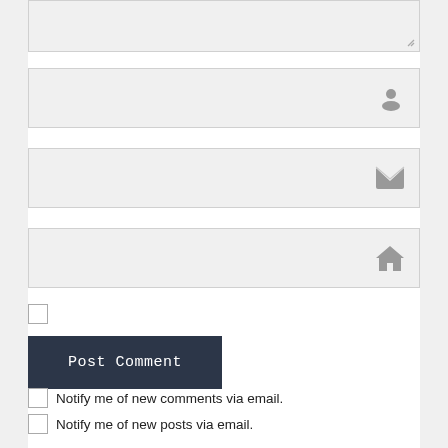[Figure (screenshot): Comment form UI with textarea, three input fields (name, email, website), a checkbox, a Post Comment button, and two notification checkboxes]
Notify me of new comments via email.
Notify me of new posts via email.